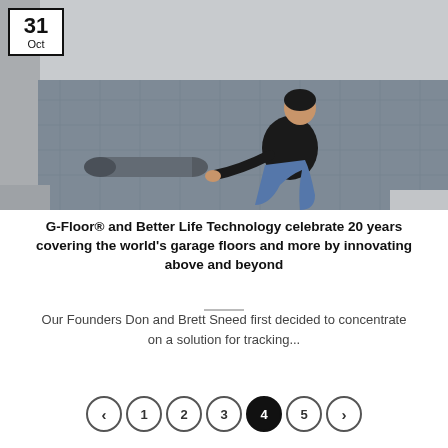[Figure (photo): Person kneeling on a concrete floor and unrolling a large grey vinyl/rubber floor mat in a garage-like room.]
G-Floor® and Better Life Technology celebrate 20 years covering the world's garage floors and more by innovating above and beyond
Our Founders Don and Brett Sneed first decided to concentrate on a solution for tracking...
< 1 2 3 4 5 >